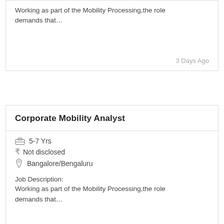Working as part of the Mobility Processing,the role demands that…
3 Days Ago
Corporate Mobility Analyst
5-7 Yrs
₹ Not disclosed
Bangalore/Bengaluru
Job Description:
Working as part of the Mobility Processing,the role demands that…